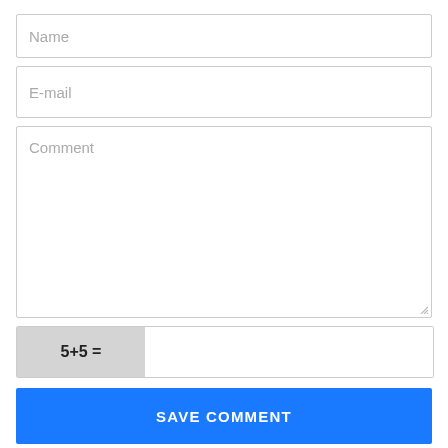Name
E-mail
Comment
5+5 =
SAVE COMMENT